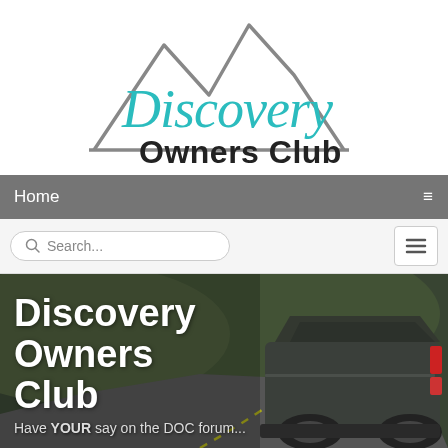[Figure (logo): Discovery Owners Club logo: mountain peaks outline in grey with 'Discovery' in teal cursive script and 'Owners Club' in bold black sans-serif text below.]
Home
Search...
[Figure (photo): Hero image of a dark grey Land Rover Discovery Sport SUV driving on a winding road with green hills in background. Overlaid bold white text reads 'Discovery Owners Club' and smaller grey text reads 'Have YOUR say on the DOC forum...']